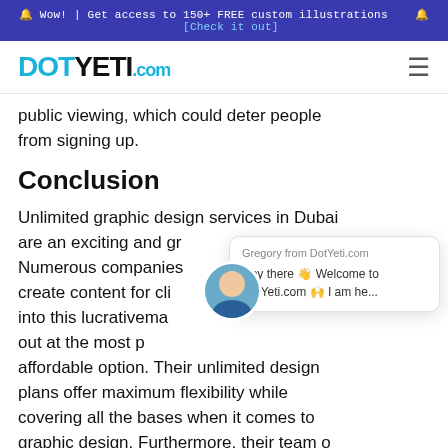🔔 Wow! | Get access to 150+ FREE custom illustrations 🔔 [Check it out]
[Figure (logo): DotYeti.com logo in teal/blue color with hamburger menu icon on the right]
public viewing, which could deter people from signing up.
Conclusion
Unlimited graphic design services in Dubai are an exciting and gr... Numerous companies... create content for cli... into this lucrative mar... out at the most p... affordable option. Their unlimited design plans offer maximum flexibility while covering all the bases when it comes to graphic design. Furthermore, their team of graphic designers are trusted by global